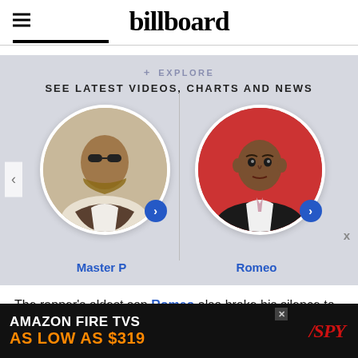billboard
+ EXPLORE
SEE LATEST VIDEOS, CHARTS AND NEWS
[Figure (photo): Circular photo of Master P (rapper) with a blue arrow button]
Master P
[Figure (photo): Circular photo of Romeo (rapper) with a blue arrow button]
Romeo
The rapper's oldest son Romeo also broke his silence to pay tribute to his younger sister following her death
[Figure (screenshot): Advertisement banner: AMAZON FIRE TVS AS LOW AS $319 - SPY]